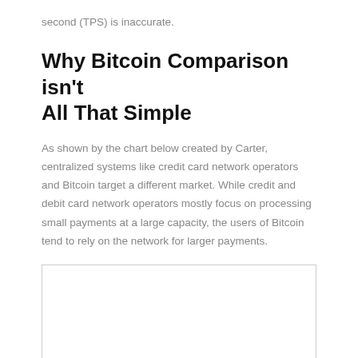second (TPS) is inaccurate.
Why Bitcoin Comparison isn't All That Simple
As shown by the chart below created by Carter, centralized systems like credit card network operators and Bitcoin target a different market. While credit and debit card network operators mostly focus on processing small payments at a large capacity, the users of Bitcoin tend to rely on the network for larger payments.
[Figure (other): Empty bordered box representing a chart placeholder by Carter comparing payment systems]